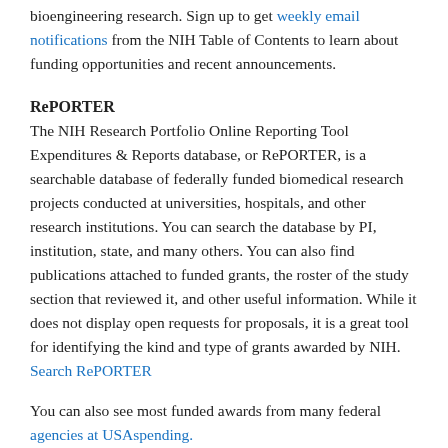bioengineering research. Sign up to get weekly email notifications from the NIH Table of Contents to learn about funding opportunities and recent announcements.
RePORTER
The NIH Research Portfolio Online Reporting Tool Expenditures & Reports database, or RePORTER, is a searchable database of federally funded biomedical research projects conducted at universities, hospitals, and other research institutions. You can search the database by PI, institution, state, and many others. You can also find publications attached to funded grants, the roster of the study section that reviewed it, and other useful information. While it does not display open requests for proposals, it is a great tool for identifying the kind and type of grants awarded by NIH. Search RePORTER
You can also see most funded awards from many federal agencies at USAspending.